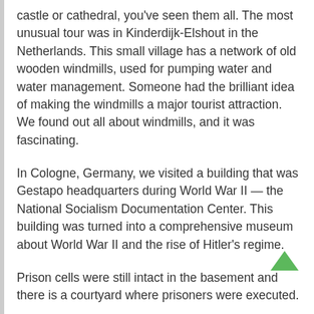castle or cathedral, you've seen them all. The most unusual tour was in Kinderdijk-Elshout in the Netherlands. This small village has a network of old wooden windmills, used for pumping water and water management. Someone had the brilliant idea of making the windmills a major tourist attraction. We found out all about windmills, and it was fascinating.
In Cologne, Germany, we visited a building that was Gestapo headquarters during World War II — the National Socialism Documentation Center. This building was turned into a comprehensive museum about World War II and the rise of Hitler's regime.
Prison cells were still intact in the basement and there is a courtyard where prisoners were executed.